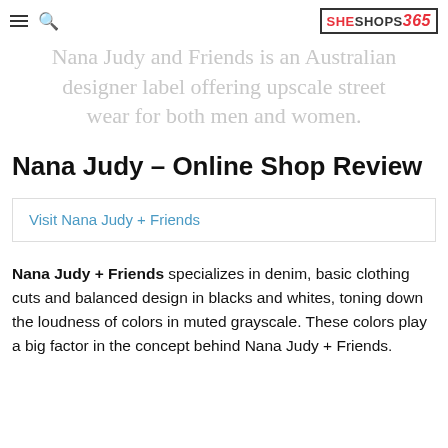SHESHOPS365
Nana Judy and Friends is an Australian designer label offering upscale street wear for both men and women.
Nana Judy – Online Shop Review
Visit Nana Judy + Friends
Nana Judy + Friends specializes in denim, basic clothing cuts and balanced design in blacks and whites, toning down the loudness of colors in muted grayscale. These colors play a big factor in the concept behind Nana Judy + Friends.